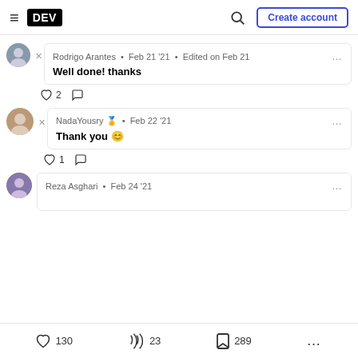DEV — Create account
Rodrigo Arantes · Feb 21 '21 • Edited on Feb 21
Well done! thanks
♡ 2  ○
NadaYousry 🏅 · Feb 22 '21
Thank you 😊
♡ 1  ○
Reza Asghari · Feb 24 '21
♡ 130   🔥 23   🔖 289   ...